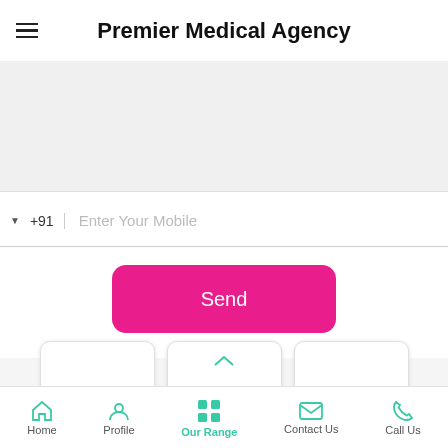Premier Medical Agency
[Figure (screenshot): Grey text area input field with placeholder text partially visible]
+91   Enter Your Mobile
[Figure (other): Pink/hot-pink Send button with rounded corners]
[Figure (other): Three contact option cards: SMS, Email, Call Us with icons]
Home  Profile  Our Range  Contact Us  Call Us